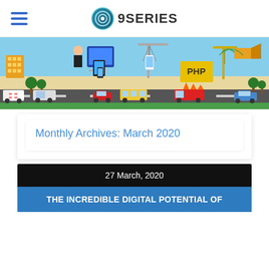9SERIES
[Figure (illustration): Website and technology themed banner illustration with a road, buildings, cranes, PHP sign, vehicles, and digital devices]
Monthly Archives: March 2020
27 March, 2020
THE INCREDIBLE DIGITAL POTENTIAL OF